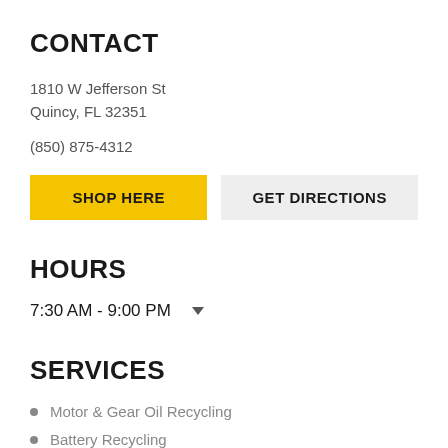CONTACT
1810 W Jefferson St
Quincy, FL 32351
(850) 875-4312
SHOP HERE | GET DIRECTIONS
HOURS
7:30 AM - 9:00 PM
SERVICES
Motor & Gear Oil Recycling
Battery Recycling